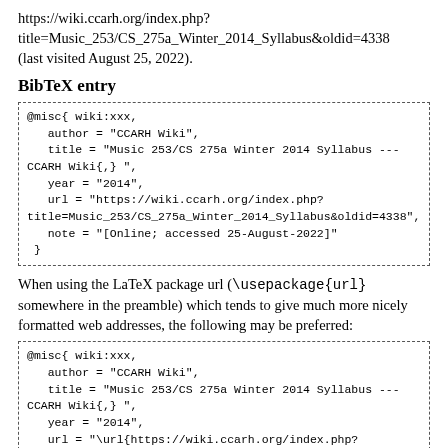https://wiki.ccarh.org/index.php?title=Music_253/CS_275a_Winter_2014_Syllabus&oldid=4338 (last visited August 25, 2022).
BibTeX entry
@misc{ wiki:xxx,
   author = "CCARH Wiki",
   title = "Music 253/CS 275a Winter 2014 Syllabus ---CCARH Wiki{,} ",
   year = "2014",
   url = "https://wiki.ccarh.org/index.php?title=Music_253/CS_275a_Winter_2014_Syllabus&oldid=4338",
   note = "[Online; accessed 25-August-2022]"
 }
When using the LaTeX package url (\usepackage{url} somewhere in the preamble) which tends to give much more nicely formatted web addresses, the following may be preferred:
@misc{ wiki:xxx,
   author = "CCARH Wiki",
   title = "Music 253/CS 275a Winter 2014 Syllabus ---CCARH Wiki{,} ",
   year = "2014",
   url = "\url{https://wiki.ccarh.org/index.php?...